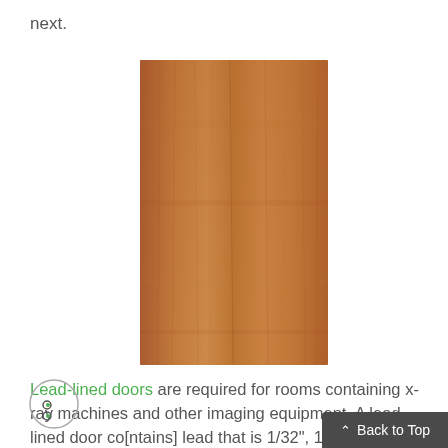next.
[Figure (photo): A wood-grain door panel photographed against a white background, tall rectangular shape with warm brown wood texture.]
Lead-lined doors are required for rooms containing x-ray machines and other imaging equipment. A lead-lined door co[ntains] lead that is 1/32", 1/16", or 1/8" thick, situated